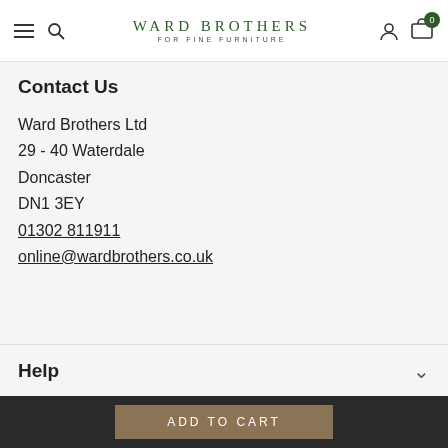Ward Brothers - For Fine Furniture (navigation bar with logo, menu, search, account, cart)
Contact Us
Ward Brothers Ltd
29 - 40 Waterdale
Doncaster
DN1 3EY
01302 811911
online@wardbrothers.co.uk
Help
[Figure (logo): Payment icons: VISA, Mastercard, Stripe]
© 2022 Ward Brothers - Furniture Store Doncaster. All Rights Reserved.